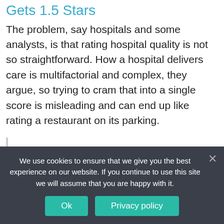Gets 1.5 Stars
The problem, say hospitals and some analysts, is that rating hospital quality is not so straightforward. How a hospital delivers care is multifactorial and complex, they argue, so trying to cram that into a single score is misleading and can end up like rating a restaurant on its parking.
Matthew Hamilton, MD MGH
We use cookies to ensure that we give you the best experience on our website. If you continue to use this site we will assume that you are happy with it.